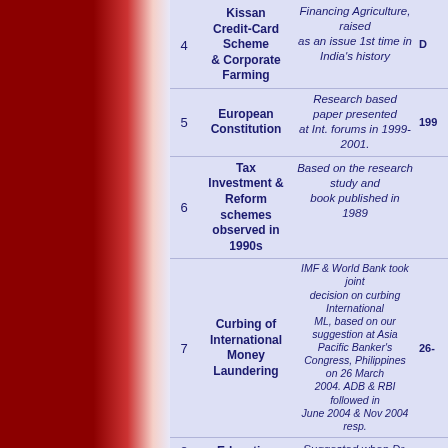| # | Topic | Description | Year |
| --- | --- | --- | --- |
| 4 | Kissan Credit-Card Scheme & Corporate Farming | Financing Agriculture, raised as an issue 1st time in India's history | D… |
| 5 | European Constitution | Research based paper presented at Int. forums in 1999-2001. | 199… |
| 6 | Tax Investment & Reform schemes observed in 1990s | Based on the research study and book published in 1989 |  |
| 7 | Curbing of International Money Laundering | IMF & World Bank took joint decision on curbing International ML, based on our suggestion at Asia Pacific Banker's Congress, Philippines on 26 March 2004. ADB & RBI followed in June 2004 & Nov 2004 resp. | 26-… |
| 8 | Education | Suggested when Dr. Manmohan Singh |  |